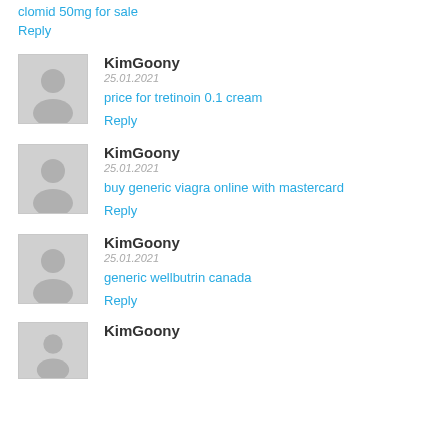clomid 50mg for sale
Reply
KimGoony
25.01.2021
price for tretinoin 0.1 cream
Reply
KimGoony
25.01.2021
buy generic viagra online with mastercard
Reply
KimGoony
25.01.2021
generic wellbutrin canada
Reply
KimGoony